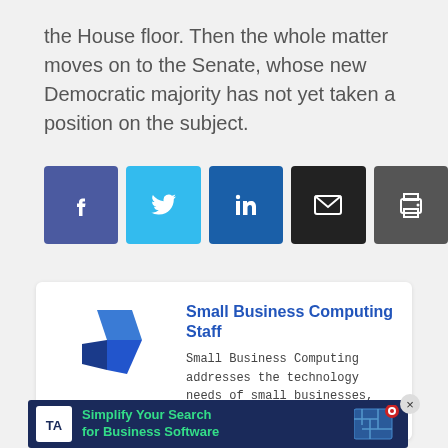the House floor. Then the whole matter moves on to the Senate, whose new Democratic majority has not yet taken a position on the subject.
[Figure (infographic): Social sharing buttons: Facebook (purple-blue), Twitter (light blue), LinkedIn (dark blue), Email (black), Print (dark gray)]
[Figure (logo): Small Business Computing Staff author card with SBC logo (blue geometric laptop/diamond shape) and description text. Author name: Small Business Computing Staff. Description: Small Business Computing addresses the technology needs of small businesses, which are defined as]
[Figure (infographic): Advertisement banner: 'Simplify Your Search for Business Software' with TA logo on dark blue background, green text, and maze graphic with target]